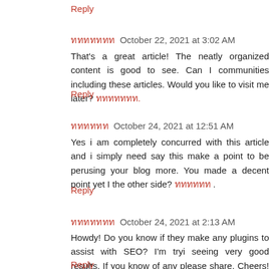Reply
ททททททท  October 22, 2021 at 3:02 AM
That's a great article! The neatly organized content is good to see. Can I communities including these articles. Would you like to visit me later? ททททททท.
Reply
ททททท  October 24, 2021 at 12:51 AM
Yes i am completely concurred with this article and i simply need say this make a point to be perusing your blog more. You made a decent point yet I the other side? ททททท .
Reply
ททททททท  October 24, 2021 at 2:13 AM
Howdy! Do you know if they make any plugins to assist with SEO? I'm tryi seeing very good results. If you know of any please share. Cheers! ททททททท
Reply